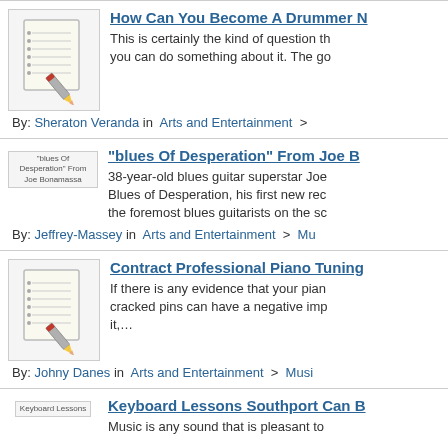How Can You Become A Drummer N...
This is certainly the kind of question th... you can do something about it. The go...
By: Sheraton Veranda in  Arts and Entertainment  >
“blues Of Desperation” From Joe B...
38-year-old blues guitar superstar Joe... Blues of Desperation, his first new rec... the foremost blues guitarists on the sc...
By: Jeffrey-Massey in  Arts and Entertainment  >  Mu...
Contract Professional Piano Tuning...
If there is any evidence that your pian... cracked pins can have a negative imp... it,...
By: Johny Danes in  Arts and Entertainment  >  Music...
Keyboard Lessons Southport Can B...
Music is any sound that is pleasant to...